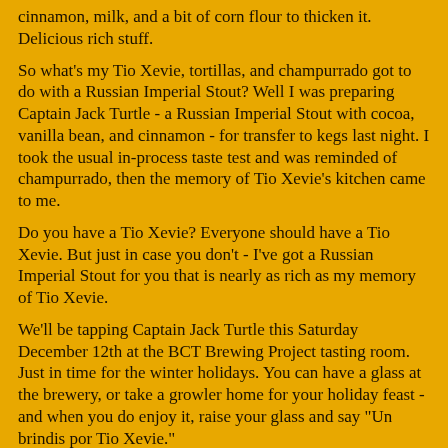cinnamon, milk, and a bit of corn flour to thicken it. Delicious rich stuff.
So what's my Tio Xevie, tortillas, and champurrado got to do with a Russian Imperial Stout? Well I was preparing Captain Jack Turtle - a Russian Imperial Stout with cocoa, vanilla bean, and cinnamon - for transfer to kegs last night. I took the usual in-process taste test and was reminded of champurrado, then the memory of Tio Xevie's kitchen came to me.
Do you have a Tio Xevie? Everyone should have a Tio Xevie. But just in case you don't - I've got a Russian Imperial Stout for you that is nearly as rich as my memory of Tio Xevie.
We'll be tapping Captain Jack Turtle this Saturday December 12th at the BCT Brewing Project tasting room. Just in time for the winter holidays. You can have a glass at the brewery, or take a growler home for your holiday feast - and when you do enjoy it, raise your glass and say "Un brindis por Tio Xevie."
¡Salud!
--
=BCT=
In August of 2016 we poured the last glass of BCT Brewing Project beer. Though the BCT Brewing Project is no longer a thing, we